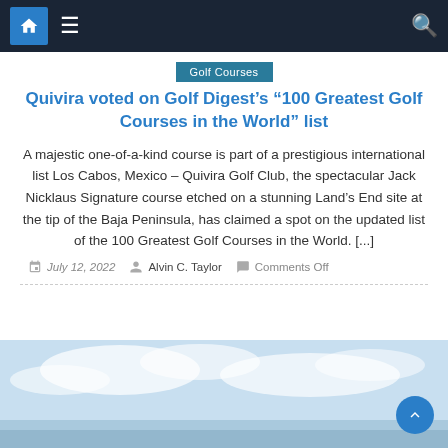Navigation bar with home, menu, and search icons
Golf Courses
Quivira voted on Golf Digest's “100 Greatest Golf Courses in the World” list
A majestic one-of-a-kind course is part of a prestigious international list Los Cabos, Mexico – Quivira Golf Club, the spectacular Jack Nicklaus Signature course etched on a stunning Land’s End site at the tip of the Baja Peninsula, has claimed a spot on the updated list of the 100 Greatest Golf Courses in the World. [...]
July 12, 2022  Alvin C. Taylor  Comments Off
[Figure (photo): Outdoor photo showing a sky with clouds, likely a golf course landscape]